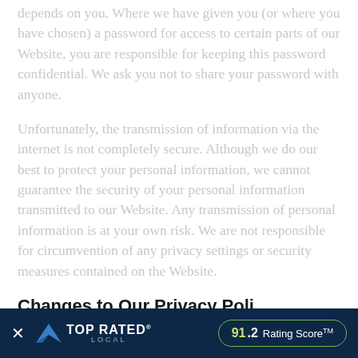depends on you. Where we have given you (or where you have chosen) a password for access to certain parts of our Website, you are responsible for keeping this password confidential. We ask you not to share your password with anyone.
Unfortunately, the transmission of information via the internet is not completely secure. Although we do our best to protect your personal information, we cannot guarantee the security of your personal information transmitted to our Website. Any transmission of personal information is at your own risk. We are not responsible for circumvention of any privacy settings or security measures contained on the Website.
Changes to Our Privacy Poli...
It is our policy...
[Figure (other): Top Rated Local banner overlay at the bottom of the page showing a close button (×), Top Rated Local logo with arrow icon, and a rating score badge showing '91.2 Rating Score™' on a dark navy background.]